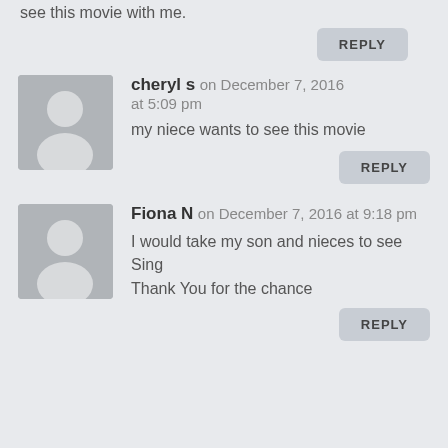see this movie with me.
REPLY
cheryl s on December 7, 2016 at 5:09 pm
my niece wants to see this movie
REPLY
Fiona N on December 7, 2016 at 9:18 pm
I would take my son and nieces to see Sing
Thank You for the chance
REPLY